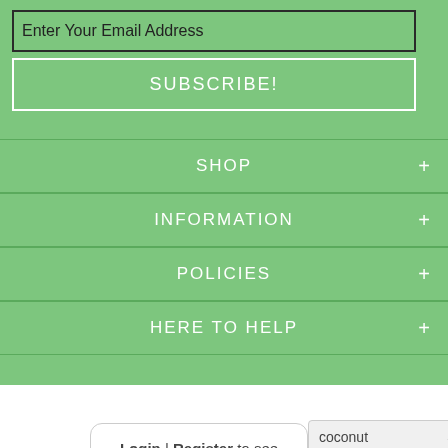Enter Your Email Address
SUBSCRIBE!
SHOP
INFORMATION
POLICIES
HERE TO HELP
Login | Register to see price and add to cart
coconut
ADD TO CART